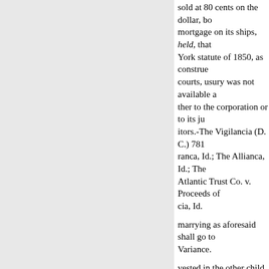sold at 80 cents on the dollar, bo mortgage on its ships, held, that York statute of 1850, as construe courts, usury was not available a ther to the corporation or to its ju itors.-The Vigilancia (D. C.) 781 ranca, Id.; The Allianca, Id.; The Atlantic Trust Co. v. Proceeds of cia, Id.
marrying as aforesaid shall go to Variance.
vested in the other child or child
E., share and share alike"; and th See "Indictment and Information charged E. with the payment of a $2,000. Held, that E. took an esta
became converted into a fee-sim VENDOR AND PURCHASER.
statute for the barring of estates t A railway company which had m nage covering after-acquired p